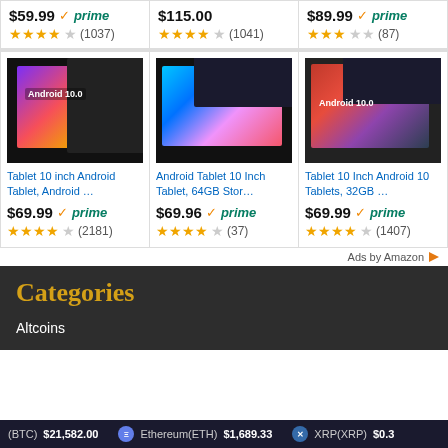$59.99 prime (1037)
$115.00 (1041)
$89.99 prime (87)
[Figure (screenshot): Tablet 10 inch Android Tablet product image showing device with Android 10.0 screen]
Tablet 10 inch Android Tablet, Android … $69.99 prime (2181)
[Figure (screenshot): Android Tablet 10 Inch product image showing device with colorful screen]
Android Tablet 10 Inch Tablet, 64GB Stor… $69.96 prime (37)
[Figure (screenshot): Tablet 10 Inch Android 10 Tablets product image showing device with Android 10.0 screen]
Tablet 10 Inch Android 10 Tablets, 32GB … $69.99 prime (1407)
Ads by Amazon
Categories
Altcoins
(BTC) $21,582.00  Ethereum(ETH) $1,689.33  XRP(XRP) $0.3